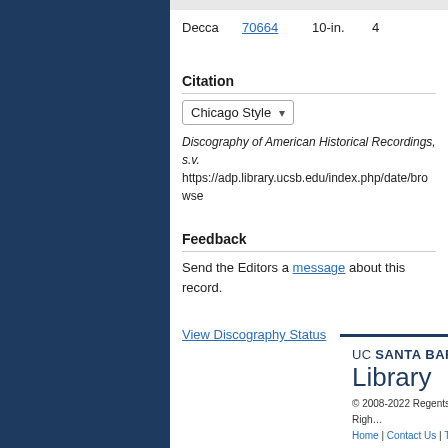|  |  |  |  |
| --- | --- | --- | --- |
| Decca | 70664 | 10-in. | 4 |
Citation
Chicago Style ▾
Discography of American Historical Recordings, s.v. https://adp.library.ucsb.edu/index.php/date/browse
Feedback
Send the Editors a message about this record.
View Discography Status
UC SANTA BARBARA Library © 2008-2022 Regents of the University of California, All Rights Reserved. Home | Contact Us | Terms of Use | Accessibility